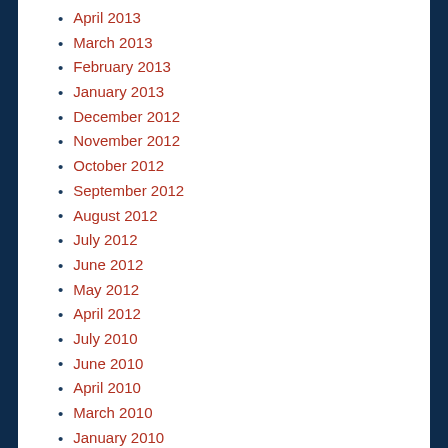April 2013
March 2013
February 2013
January 2013
December 2012
November 2012
October 2012
September 2012
August 2012
July 2012
June 2012
May 2012
April 2012
July 2010
June 2010
April 2010
March 2010
January 2010
December 2009
November 2009
October 2009
September 2009